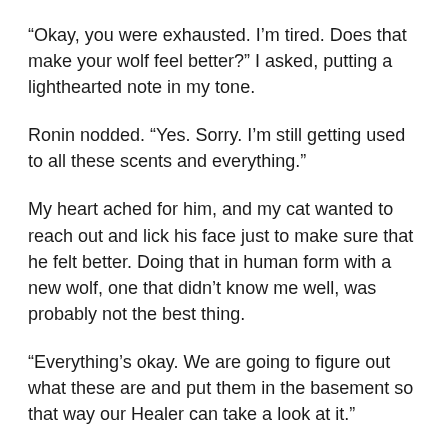“Okay, you were exhausted. I’m tired. Does that make your wolf feel better?” I asked, putting a lighthearted note in my tone.
Ronin nodded. “Yes. Sorry. I’m still getting used to all these scents and everything.”
My heart ached for him, and my cat wanted to reach out and lick his face just to make sure that he felt better. Doing that in human form with a new wolf, one that didn’t know me well, was probably not the best thing.
“Everything’s okay. We are going to figure out what these are and put them in the basement so that way our Healer can take a look at it.”
“Maybe the other Packs know?”